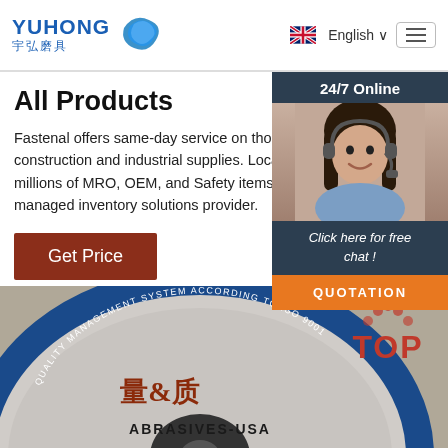[Figure (logo): Yuhong logo with blue wave icon and Chinese characters 宇弘磨具]
English
All Products
Fastenal offers same-day service on thousands of construction and industrial supplies. Local sourcing of millions of MRO, OEM, and Safety items. Vending managed inventory solutions provider.
Get Price
[Figure (infographic): 24/7 Online chat widget with customer service representative photo, 'Click here for free chat!' text, and QUOTATION button]
[Figure (photo): Close-up of an abrasive grinding disc labeled ABRASIVES-USA with Chinese characters, blue border reading QUALITY MANAGEMENT SYSTEM ACCORDING TO ISO 9001]